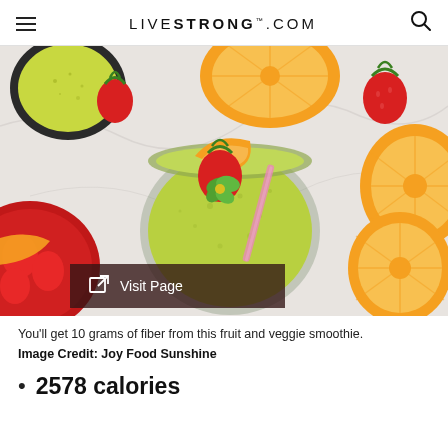LIVESTRONG.COM
[Figure (photo): Overhead flat-lay photo of a green fruit and veggie smoothie in a glass jar with an orange slice and strawberry garnish, a pink striped straw, surrounded by halved oranges, strawberries, and a bowl of green smoothie on a marble surface. A dark overlay button reads 'Visit Page'.]
You'll get 10 grams of fiber from this fruit and veggie smoothie.
Image Credit: Joy Food Sunshine
2578 calories